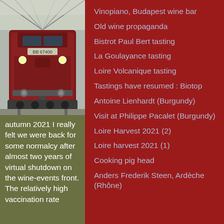[Figure (photo): Front view of a red/maroon locomotive train inside a station shed with glass roof structure visible above]
autumn 2021 I really felt we were back for some normalcy after almost two years of virtual shutdown on the wine-events front. The relatively high vaccination rate
Vinopiano, Budapest wine bar
Old wine propaganda
Bistrot Paul Bert tasting
La Goulayance tasting
Loire Volcanique tasting
Tastings have resumed : Biotop
Antoine Lienhardt (Burgundy)
Visit at Philippe Pacalet (Burgundy)
Loire Harvest 2021 (2)
Loire harvest 2021 (1)
Cooking pig head
Anders Frederik Steen, Ardèche (Rhône)